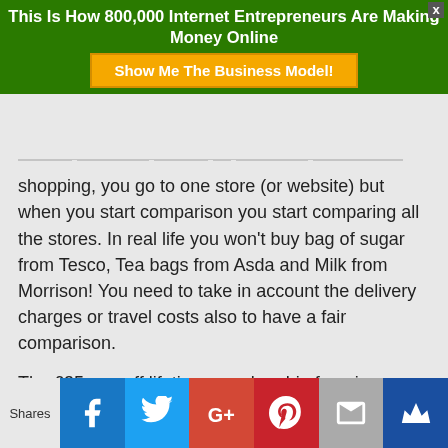This Is How 800,000 Internet Entrepreneurs Are Making Money Online
Show Me The Business Model!
shopping, you go to one store (or website) but when you start comparison you start comparing all the stores. In real life you won't buy bag of sugar from Tesco, Tea bags from Asda and Milk from Morrison! You need to take in account the delivery charges or travel costs also to have a fair comparison.
The £35 one off lifetime membership fee gives members facility to have these items delivered to their homes (anywhere in the UK) for free when they shop over 50 points. Not discussing
Shares  [Facebook] [Twitter] [Google+] [Pinterest] [Email] [Crown]